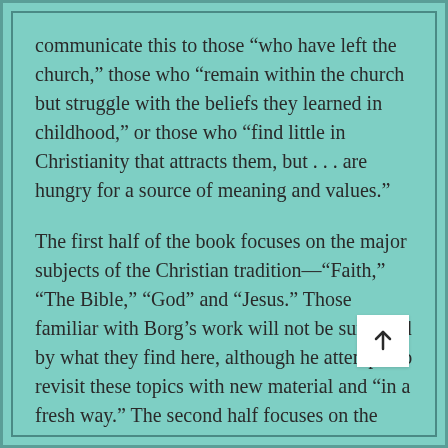communicate this to those “who have left the church,” those who “remain within the church but struggle with the beliefs they learned in childhood,” or those who “find little in Christianity that attracts them, but . . . are hungry for a source of meaning and values.”
The first half of the book focuses on the major subjects of the Christian tradition—“Faith,” “The Bible,” “God” and “Jesus.” Those familiar with Borg’s work will not be surprised by what they find here, although he attempts to revisit these topics with new material and “in a fresh way.” The second half focuses on the Christian life, with chapters on “Born Again,” “The